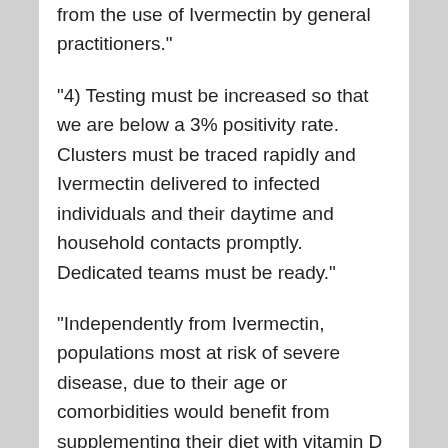from the use of Ivermectin by general practitioners."
"4) Testing must be increased so that we are below a 3% positivity rate. Clusters must be traced rapidly and Ivermectin delivered to infected individuals and their daytime and household contacts promptly. Dedicated teams must be ready."
"Independently from Ivermectin, populations most at risk of severe disease, due to their age or comorbidities would benefit from supplementing their diet with vitamin D (2,000 to 5,000 UI daily), vitamin C (500 mg daily) and zinc (50 mg daily). This message should be sent loud and clear, and repeatedly, to these populations and to those